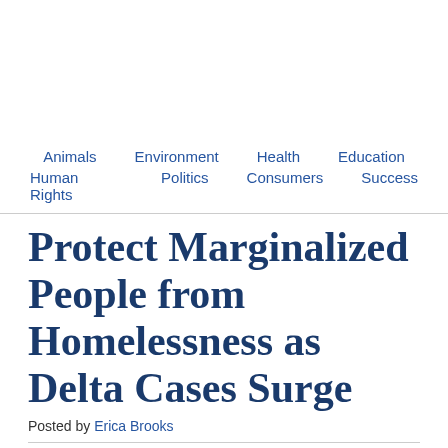Animals  Environment  Health  Education  Human Rights  Politics  Consumers  Success
Protect Marginalized People from Homelessness as Delta Cases Surge
Posted by Erica Brooks
[Figure (infographic): Social sharing buttons: Email, SMS, Facebook, Twitter, Reddit, Pinterest, More (+)]